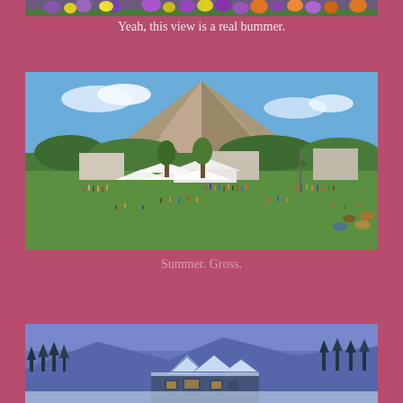[Figure (photo): Top strip of a wildflower field with colorful flowers (purple, yellow, orange) cropped at the top edge]
Yeah, this view is a real bummer.
[Figure (photo): A large outdoor summer concert or festival on a green lawn with a crowd of people, a stage with white tents, and a dramatic rocky mountain peak (Crested Butte) in the background under a blue sky]
Summer. Gross.
[Figure (photo): A snowy winter scene showing snow-covered rooftops of buildings with evergreen trees and mountains in a blue/purple twilight light]